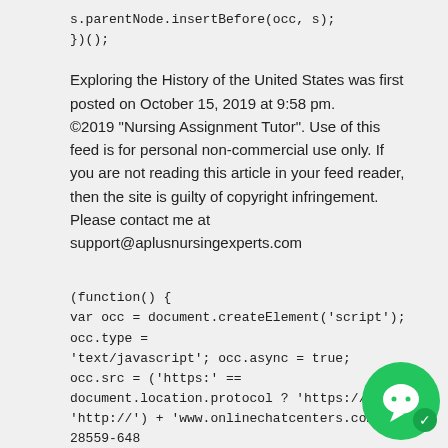s.parentNode.insertBefore(occ, s);
})();
Exploring the History of the United States was first posted on October 15, 2019 at 9:58 pm.
©2019 "Nursing Assignment Tutor". Use of this feed is for personal non-commercial use only. If you are not reading this article in your feed reader, then the site is guilty of copyright infringement. Please contact me at support@aplusnursingexperts.com
(function() {
var occ = document.createElement('script'); occ.type =
'text/javascript'; occ.async = true;
occ.src = ('https:' == document.location.protocol ? 'https://' :
'http://') + 'www.onlinechatcenters.com/code.a-28559-648...
var s = document.getElementsByTagName('script')[0];
s.parentNode.insertBefore(occ, s);
})();